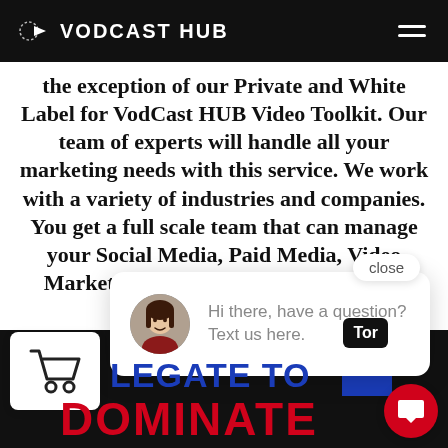VODCAST HUB
the exception of our Private and White Label for VodCast HUB Video Toolkit. Our team of experts will handle all your marketing needs with this service. We work with a variety of industries and companies. You get a full scale team that can manage your Social Media, Paid Media, Video Marketing and much more. See below.
[Figure (screenshot): Chat popup widget with avatar of a woman and message 'Hi there, have a question? Text us here.' with a close button]
[Figure (logo): VodCast Hub logo at bottom]
LEGATE TO
DOMINATE